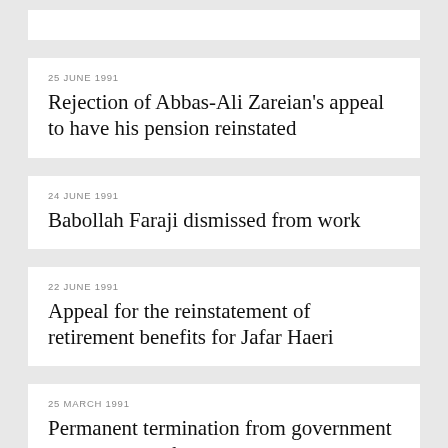25 JUNE 1991 — Rejection of Abbas-Ali Zareian's appeal to have his pension reinstated
24 JUNE 1991 — Babollah Faraji dismissed from work
22 JUNE 1991 — Appeal for the reinstatement of retirement benefits for Jafar Haeri
25 MARCH 1991 — Permanent termination from government employment of Sohrab Doustdar